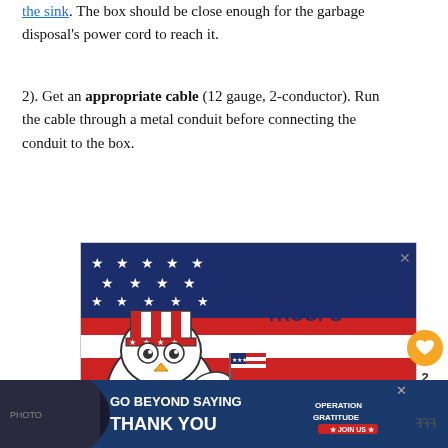the sink. The box should be close enough for the garbage disposal's power cord to reach it.
2). Get an appropriate cable (12 gauge, 2-conductor). Run the cable through a metal conduit before connecting the conduit to the box.
[Figure (illustration): Advertisement banner showing a cartoon owl wearing an Uncle Sam hat and holding an American flag, with text 'SAY THANK YOU TO DEPLOYED TROOPS' and 'OPERATION GRATITUDE' branding, against a US flag background.]
[Figure (illustration): Bottom banner advertisement for Operation Gratitude showing 'GO BEYOND SAYING THANK YOU' with Join Us button and Operation Gratitude logo on dark navy background.]